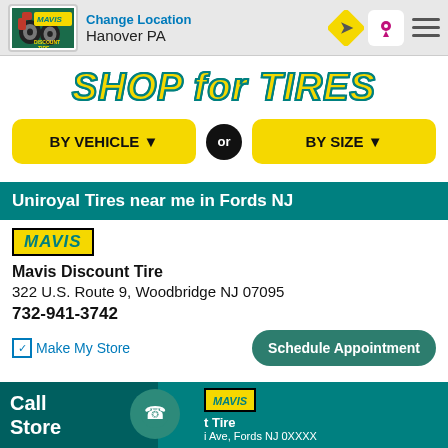Change Location Hanover PA
SHOP for TIRES
BY VEHICLE ▼
BY SIZE ▼
Uniroyal Tires near me in Fords NJ
[Figure (logo): Mavis yellow logo badge]
Mavis Discount Tire
322 U.S. Route 9, Woodbridge NJ 07095
732-941-3742
Make My Store
Schedule Appointment
Call Store | Mavis Discount Tire (partial)